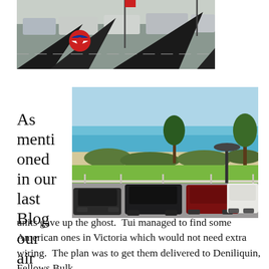[Figure (photo): Partial view of black tent/umbrella with Pepsi logo visible, cars parked in background on a sunny day]
[Figure (photo): Beach/ocean scene from elevated viewpoint showing turquoise ocean, sandy beach with scrubby vegetation, green lawn, street lamp, and cars parked in foreground]
As mentioned in our last Blog our air con units gave up the ghost.  Tui managed to find some American ones in Victoria which would not need extra wiring.  The plan was to get them delivered to Deniliquin, Fellows Bulk